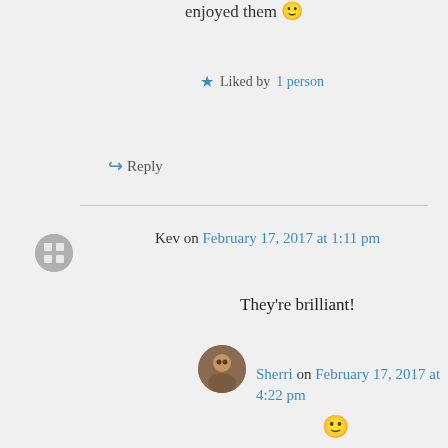enjoyed them 🙂
★ Liked by 1 person
↪ Reply
Kev on February 17, 2017 at 1:11 pm
They're brilliant!
★ Liked by 1 person
↪ Reply
Sherri on February 17, 2017 at 4:22 pm
🙂